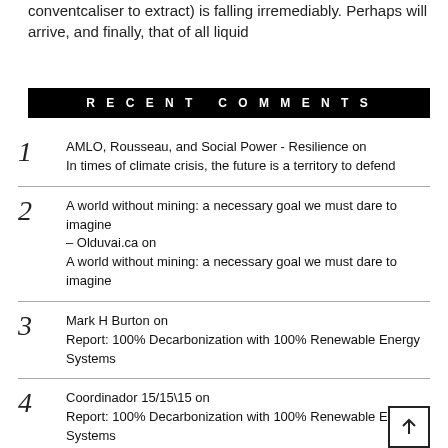conventcaliser to extract) is falling irremediably. Perhaps will arrive, and finally, that of all liquid
RECENT COMMENTS
1 AMLO, Rousseau, and Social Power - Resilience on In times of climate crisis, the future is a territory to defend
2 A world without mining: a necessary goal we must dare to imagine – Olduvai.ca on A world without mining: a necessary goal we must dare to imagine
3 Mark H Burton on Report: 100% Decarbonization with 100% Renewable Energy Systems
4 Coordinador 15/15\15 on Report: 100% Decarbonization with 100% Renewable Energy Systems